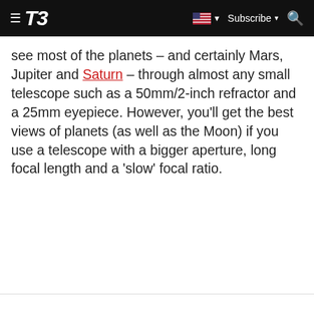T3 | Subscribe
see most of the planets – and certainly Mars, Jupiter and Saturn – through almost any small telescope such as a 50mm/2-inch refractor and a 25mm eyepiece. However, you'll get the best views of planets (as well as the Moon) if you use a telescope with a bigger aperture, long focal length and a 'slow' focal ratio.